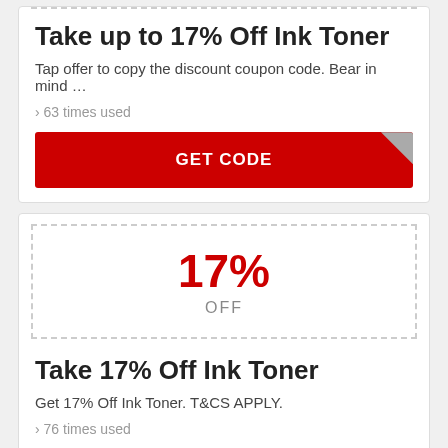Take up to 17% Off Ink Toner
Tap offer to copy the discount coupon code. Bear in mind …
› 63 times used
[Figure (other): Red GET CODE button with grey folded corner]
[Figure (other): Dashed box showing 17% OFF coupon discount indicator]
Take 17% Off Ink Toner
Get 17% Off Ink Toner. T&CS APPLY.
› 76 times used
[Figure (other): Red GET CODE button (partially visible at bottom)]